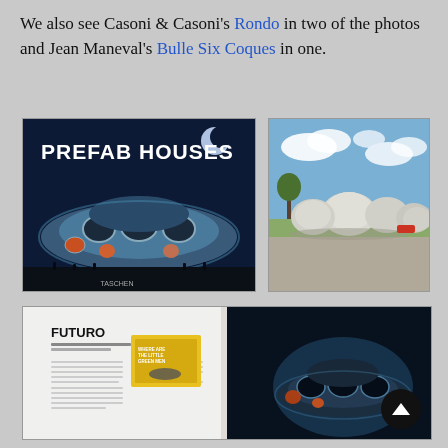We also see Casoni & Casoni's Rondo in two of the photos and Jean Maneval's Bulle Six Coques in one.
[Figure (photo): Book cover of 'Prefab Houses' published by Taschen, showing a futuristic UFO-shaped Futuro house at night with a crescent moon, blue background.]
[Figure (photo): Outdoor photo of white bubble-shaped Bulle Six Coques / Rondo prefab structures in a field with blue sky and clouds.]
[Figure (photo): Open book spread showing the 'Prefab Houses' book interior: left page has FUTURO heading with text and a yellow book cover inset; right page has a large photo of a Futuro house at night.]